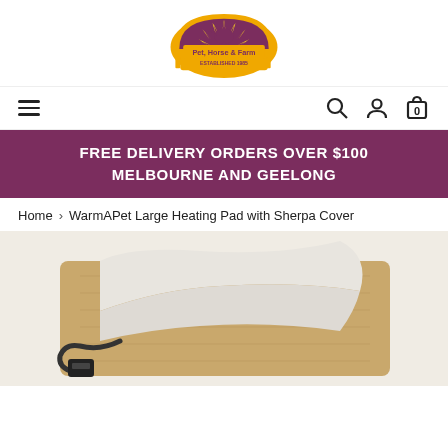[Figure (logo): Vanderpol's Pet, Horse & Farm store logo with a golden arch and horse silhouette, text reads 'Pet, Horse & Farm - Established 1985']
[Figure (other): Navigation bar with hamburger menu on left and search, account, and cart (0) icons on right]
FREE DELIVERY ORDERS OVER $100 MELBOURNE AND GEELONG
Home > WarmAPet Large Heating Pad with Sherpa Cover
[Figure (photo): Product photo of WarmAPet Large Heating Pad with Sherpa Cover showing a rectangular heating pad with cream/beige sherpa cover partially unfolded, with a power cord and plug visible]